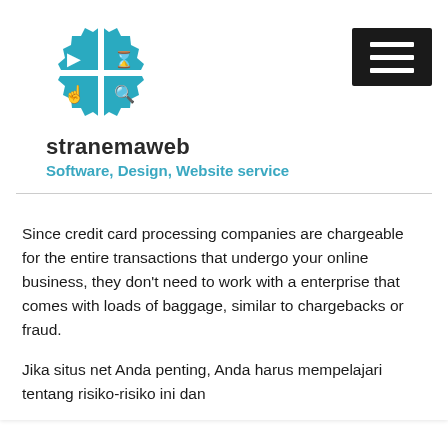[Figure (logo): Stranemaweb logo: a teal/blue gear-like circular icon divided into four quadrants with cursor, hourglass, hand, and magnifying glass icons]
stranemaweb
Software, Design, Website service
Since credit card processing companies are chargeable for the entire transactions that undergo your online business, they don’t need to work with a enterprise that comes with loads of baggage, similar to chargebacks or fraud.
Jika situs net Anda penting, Anda harus mempelajari tentang risiko-risiko ini dan